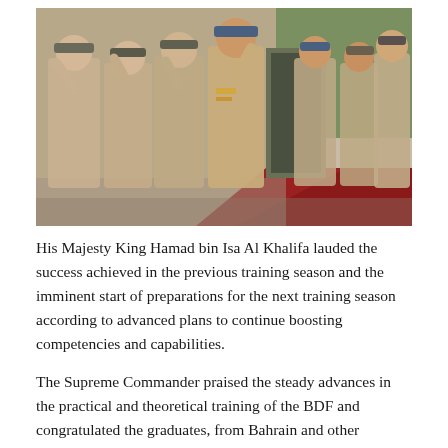[Figure (photo): Military personnel in desert camouflage uniforms saluting and walking together, including a senior officer being greeted, on a red carpet with trees in the background.]
His Majesty King Hamad bin Isa Al Khalifa lauded the success achieved in the previous training season and the imminent start of preparations for the next training season according to advanced plans to continue boosting competencies and capabilities.
The Supreme Commander praised the steady advances in the practical and theoretical training of the BDF and congratulated the graduates, from Bahrain and other countries, of the 14th joint command and